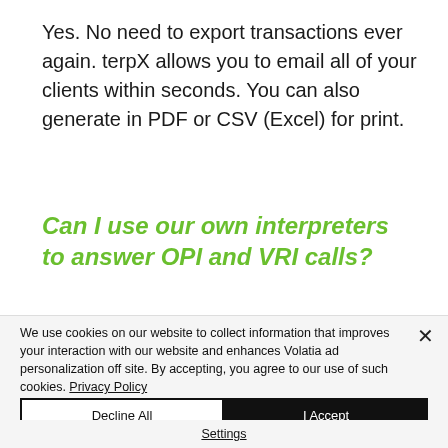Yes. No need to export transactions ever again. terpX allows you to email all of your clients within seconds. You can also generate in PDF or CSV (Excel) for print.
Can I use our own interpreters to answer OPI and VRI calls?
We use cookies on our website to collect information that improves your interaction with our website and enhances Volatia ad personalization off site. By accepting, you agree to our use of such cookies. Privacy Policy
Decline All
I Accept
Settings